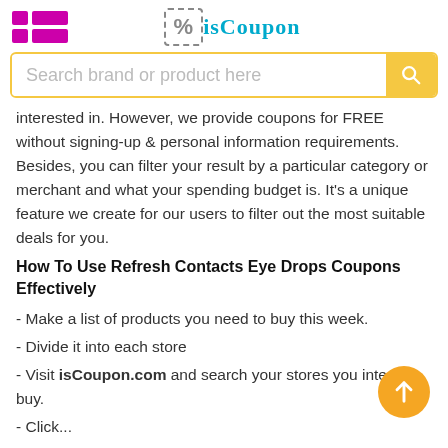isCoupon logo and search bar
interested in. However, we provide coupons for FREE without signing-up & personal information requirements. Besides, you can filter your result by a particular category or merchant and what your spending budget is. It's a unique feature we create for our users to filter out the most suitable deals for you.
How To Use Refresh Contacts Eye Drops Coupons Effectively
- Make a list of products you need to buy this week.
- Divide it into each store
- Visit isCoupon.com and search your stores you intend to buy.
- Click...